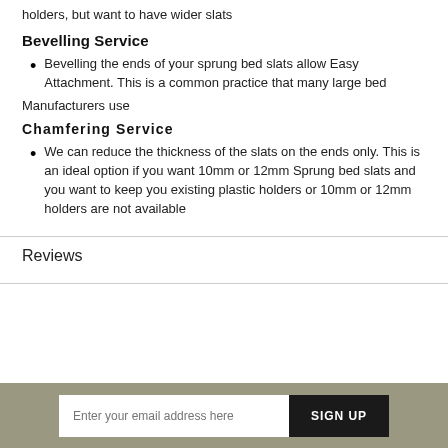holders, but want to have wider slats
Bevelling Service
Bevelling the ends of your sprung bed slats allow Easy Attachment. This is a common practice that many large bed
Manufacturers use
Chamfering Service
We can reduce the thickness of the slats on the ends only. This is an ideal option if you want 10mm or 12mm Sprung bed slats and you want to keep you existing plastic holders or 10mm or 12mm holders are not available
Reviews
Enter your email address here
SIGN UP